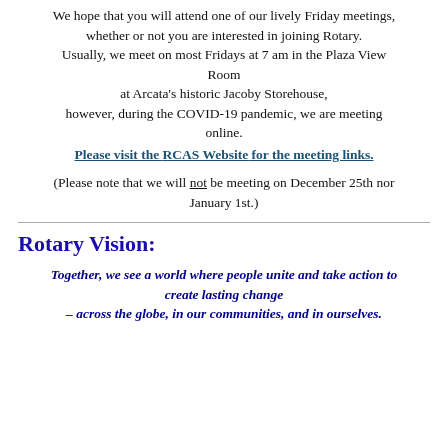We hope that you will attend one of our lively Friday meetings, whether or not you are interested in joining Rotary. Usually, we meet on most Fridays at 7 am in the Plaza View Room at Arcata’s historic Jacoby Storehouse, however, during the COVID-19 pandemic, we are meeting online.
Please visit the RCAS Website for the meeting links.
(Please note that we will not be meeting on December 25th nor January 1st.)
Rotary Vision:
Together, we see a world where people unite and take action to create lasting change – across the globe, in our communities, and in ourselves.